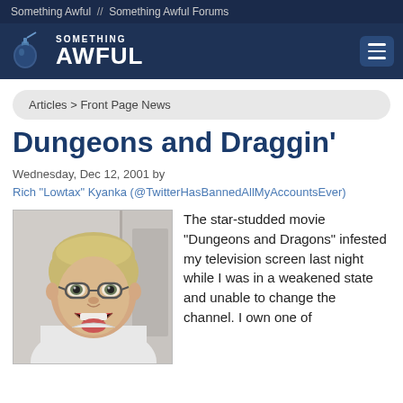Something Awful // Something Awful Forums
[Figure (logo): Something Awful logo with grenade icon and site name in white on dark blue background]
Articles > Front Page News
Dungeons and Draggin'
Wednesday, Dec 12, 2001 by Rich "Lowtax" Kyanka (@TwitterHasBannedAllMyAccountsEver)
[Figure (photo): Photo of a man with glasses and short blond hair making an exaggerated open-mouth surprised expression, wearing a white t-shirt]
The star-studded movie "Dungeons and Dragons" infested my television screen last night while I was in a weakened state and unable to change the channel. I own one of